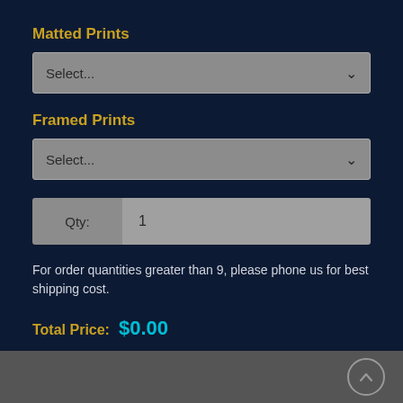Matted Prints
[Figure (screenshot): Dropdown select box for Matted Prints showing 'Select...' placeholder]
Framed Prints
[Figure (screenshot): Dropdown select box for Framed Prints showing 'Select...' placeholder]
[Figure (screenshot): Quantity input field labeled 'Qty:' with value '1']
For order quantities greater than 9, please phone us for best shipping cost.
Total Price:  $0.00